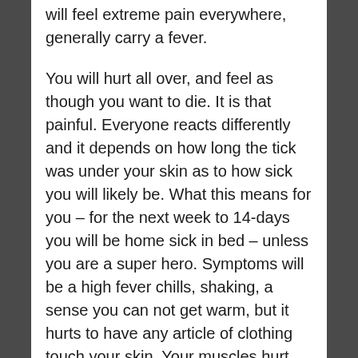will feel extreme pain everywhere, generally carry a fever.
You will hurt all over, and feel as though you want to die. It is that painful. Everyone reacts differently and it depends on how long the tick was under your skin as to how sick you will likely be. What this means for you – for the next week to 14-days you will be home sick in bed – unless you are a super hero. Symptoms will be a high fever chills, shaking, a sense you can not get warm, but it hurts to have any article of clothing touch your skin. Your muscles hurt, especially your bones.
Be aware, it will likely be difficult to get the help you need. Especially if you live in an area where doctors and health officials do not believe, Lyme